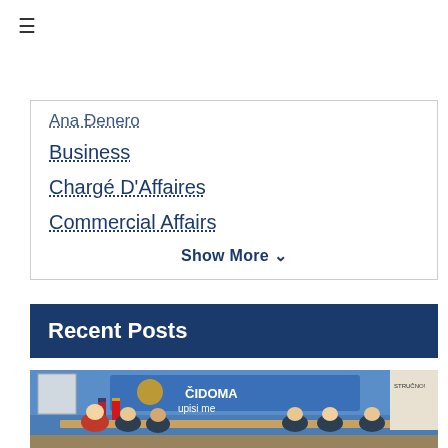Ana Đenero (partial/truncated)
Business
Chargé D'Affaires
Commercial Affairs
Show More ∨
Recent Posts
[Figure (photo): Meeting room scene with several people seated around a table. American and Montenegrin flags visible. Background shows blue wall with text 'UČIDOMA upisi me'. People appear to be in an official government meeting.]